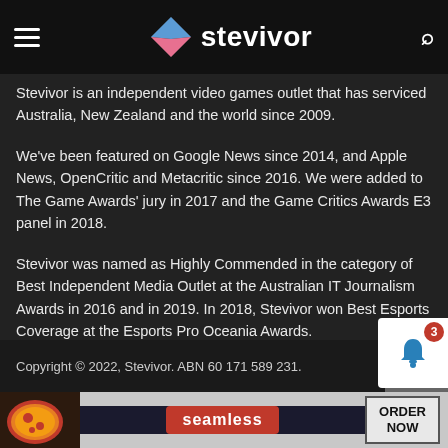stevivor
Stevivor is an independent video games outlet that has serviced Australia, New Zealand and the world since 2009.
We've been featured on Google News since 2014, and Apple News, OpenCritic and Metacritic since 2016. We were added to The Game Awards' jury in 2017 and the Game Critics Awards E3 panel in 2018.
Stevivor was named as Highly Commended in the category of Best Independent Media Outlet at the Australian IT Journalism Awards in 2016 and in 2019. In 2018, Stevivor won Best Esports Coverage at the Esports Pro Oceania Awards.
Copyright © 2022, Stevivor. ABN 60 171 589 231.
[Figure (screenshot): Advertisement banner for Seamless food ordering service with pizza imagery, Seamless logo in red, and ORDER NOW button]